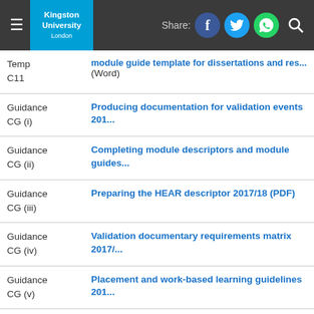Kingston University London — Share: [Facebook] [Twitter] [WhatsApp] [Search]
| Code | Title |
| --- | --- |
| Temp C11 | module guide template for dissertations and res... (Word) |
| Guidance CG (i) | Producing documentation for validation events 201... |
| Guidance CG (ii) | Completing module descriptors and module guides... |
| Guidance CG (iii) | Preparing the HEAR descriptor 2017/18 (PDF) |
| Guidance CG (iv) | Validation documentary requirements matrix 2017/... |
| Guidance CG (v) | Placement and work-based learning guidelines 201... |
| Guidance CG (vi) | Validation criteria and checklist for Faculty and Uni... 2017/18(PDF) |
| Guidance | Gu... |